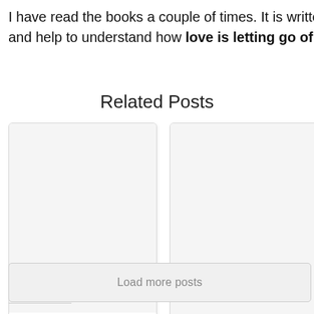I have read the books a couple of times. It is written at and help to understand how love is letting go of fea
Related Posts
[Figure (other): Card: The Gift of Non-Fear]
[Figure (other): Card: How to Transform Suffering into an Opportunity for Growth]
[Figure (other): Card: Do Yo... mirac...]
Load more posts